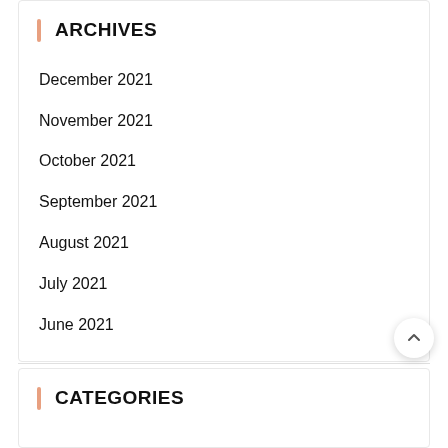ARCHIVES
December 2021
November 2021
October 2021
September 2021
August 2021
July 2021
June 2021
CATEGORIES